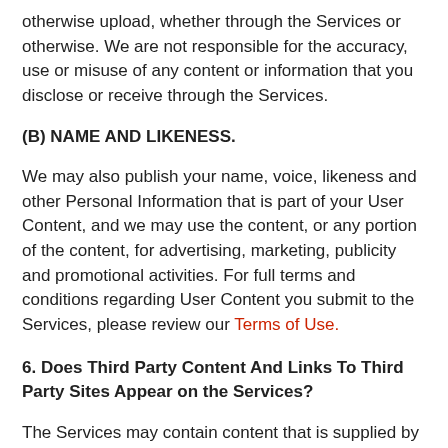otherwise upload, whether through the Services or otherwise. We are not responsible for the accuracy, use or misuse of any content or information that you disclose or receive through the Services.
(B) NAME AND LIKENESS.
We may also publish your name, voice, likeness and other Personal Information that is part of your User Content, and we may use the content, or any portion of the content, for advertising, marketing, publicity and promotional activities. For full terms and conditions regarding User Content you submit to the Services, please review our Terms of Use.
6. Does Third Party Content And Links To Third Party Sites Appear on the Services?
The Services may contain content that is supplied by a third party, and those third parties may collect web site usage information and your Device Identifier when web pages from